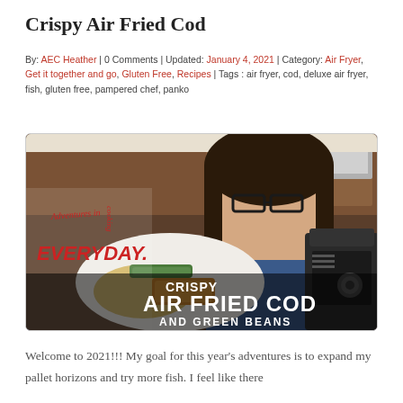Crispy Air Fried Cod
By: AEC Heather | 0 Comments | Updated: January 4, 2021 | Category: Air Fryer, Get it together and go, Gluten Free, Recipes | Tags : air fryer, cod, deluxe air fryer, fish, gluten free, pampered chef, panko
[Figure (photo): Thumbnail image for 'Crispy Air Fried Cod and Green Beans' video showing a woman in a kitchen holding a plate with cod and green beans, with an air fryer appliance, and the Adventures in Everyday Cooking logo overlay with text 'CRISPY AIR FRIED COD AND GREEN BEANS']
Welcome to 2021!!! My goal for this year’s adventures is to expand my pallet horizons and try more fish. I feel like there